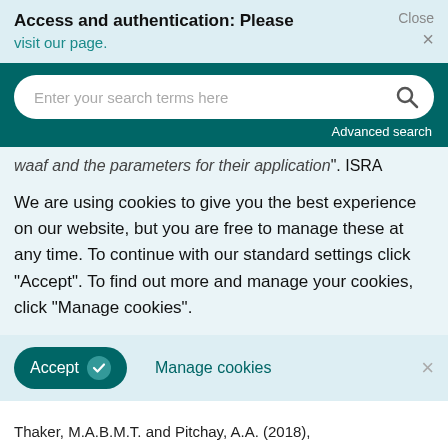Access and authentication: Please visit our page.
[Figure (screenshot): Search bar with placeholder text 'Enter your search terms here' and a search icon, on a dark teal background with 'Advanced search' link below]
waaf and the parameters for their application". ISRA
We are using cookies to give you the best experience on our website, but you are free to manage these at any time. To continue with our standard settings click "Accept". To find out more and manage your cookies, click "Manage cookies".
Accept   Manage cookies
Thaker, M.A.B.M.T. and Pitchay, A.A. (2018),